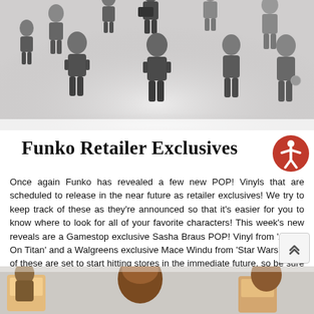[Figure (photo): Collection of Walking Dead Funko Mystery Mini vinyl figures arranged together, rendered in greyscale and dark tones]
Funko Retailer Exclusives
Once again Funko has revealed a few new POP! Vinyls that are scheduled to release in the near future as retailer exclusives! We try to keep track of these as they're announced so that it's easier for you to know where to look for all of your favorite characters! This week's new reveals are a Gamestop exclusive Sasha Braus POP! Vinyl from 'Attack On Titan' and a Walgreens exclusive Mace Windu from 'Star Wars'! Both of these are set to start hitting stores in the immediate future, so be sure to keep your eyes peeled!
[Figure (photo): Partial view of Funko POP! Vinyl boxes and figures at the bottom of the page]